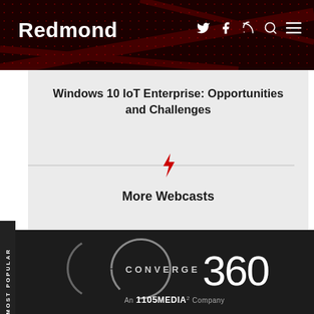Redmond
Windows 10 IoT Enterprise: Opportunities and Challenges
More Webcasts
[Figure (logo): Converge 360 logo — circular arc with CONVERGE 360 text]
An 1105 MEDIA² Company